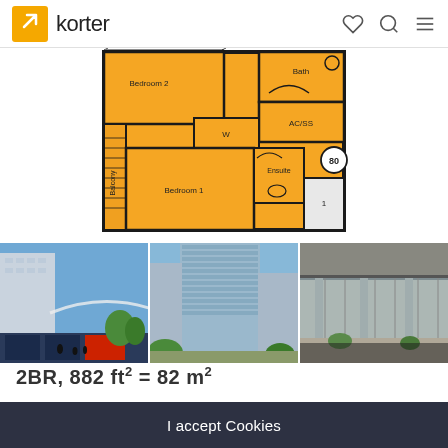korter
[Figure (engineering-diagram): Apartment floor plan showing Bedroom 1, Bedroom 2, Bath, Ensuite, AC/SS, W (wardrobe), Balcony rooms in orange/amber fill with black outlines. Circle labeled '80' in bottom right.]
[Figure (photo): Street-level rendering of a modern residential tower with retail at ground level, pedestrians visible.]
[Figure (photo): Exterior rendering of a tall modern residential tower with glass facade and blue sky.]
[Figure (photo): Ground-level view of modern building entrance with landscaping and covered walkway.]
2BR, 882 ft² = 82 m²
Using Korter, you agree with our Cookies policy and Terms of Use
I accept Cookies